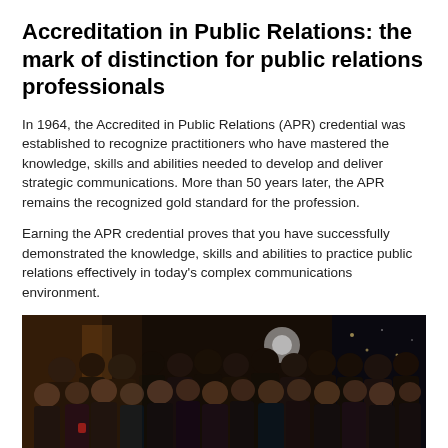Accreditation in Public Relations: the mark of distinction for public relations professionals
In 1964, the Accredited in Public Relations (APR) credential was established to recognize practitioners who have mastered the knowledge, skills and abilities needed to develop and deliver strategic communications. More than 50 years later, the APR remains the recognized gold standard for the profession.
Earning the APR credential proves that you have successfully demonstrated the knowledge, skills and abilities to practice public relations effectively in today's complex communications environment.
[Figure (photo): Group photo of public relations professionals posing together indoors at a dimly lit venue, approximately 25-30 people smiling at the camera.]